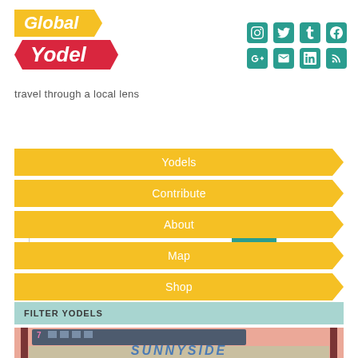[Figure (logo): Global Yodel logo with yellow arrow badge for 'Global' and red chevron badge for 'Yodel']
travel through a local lens
[Figure (infographic): Social media icons row: Instagram, Twitter, Tumblr, Facebook, Google+, Email, LinkedIn, RSS — all teal/green colored]
Search
Yodels
Contribute
About
Map
Shop
FILTER YODELS
[Figure (illustration): Illustrated scene of Sunnyside neighborhood with elevated subway train showing number 7, brick building facade, skyline in background, and 'SUNNYSIDE' text]